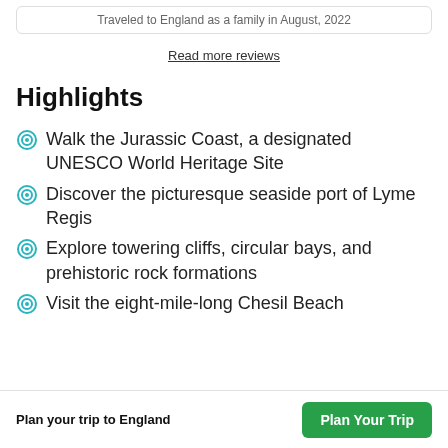Traveled to England as a family in August, 2022
Read more reviews
Highlights
Walk the Jurassic Coast, a designated UNESCO World Heritage Site
Discover the picturesque seaside port of Lyme Regis
Explore towering cliffs, circular bays, and prehistoric rock formations
Visit the eight-mile-long Chesil Beach
Plan your trip to England   Plan Your Trip